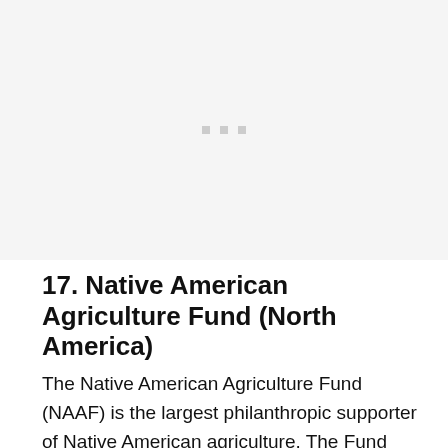[Figure (other): Large image placeholder area with three small gray square dots centered near the top]
17. Native American Agriculture Fund (North America)
The Native American Agriculture Fund (NAAF) is the largest philanthropic supporter of Native American agriculture. The Fund offers grants to Tribal governments, non-profit organizations,